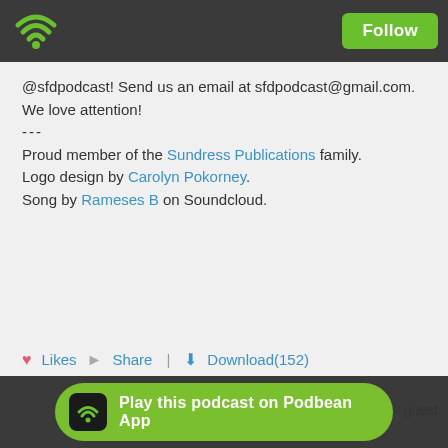[Figure (logo): Podbean wifi/podcast logo icon in green on dark background]
Follow
@sfdpodcast! Send us an email at sfdpodcast@gmail.com. We love attention!

---

Proud member of the Sundress Publications family.
Logo design by Carolyn Pokorney.
Song by Rameses B on Soundcloud.
♥ Likes  Share  |  Download(152)
January 23, 2020
Black Atticus
Play this podcast on Podbean App
guest